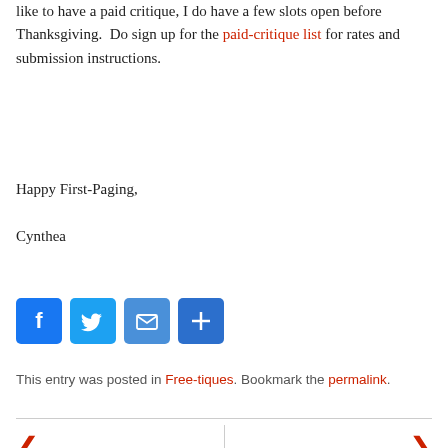like to have a paid critique, I do have a few slots open before Thanksgiving.  Do sign up for the paid-critique list for rates and submission instructions.
Happy First-Paging,
Cynthea
[Figure (infographic): Social media sharing icons: Facebook (blue), Twitter (blue), Email (blue), Share/Plus (blue)]
This entry was posted in Free-tiques. Bookmark the permalink.
Making the
Van Metro